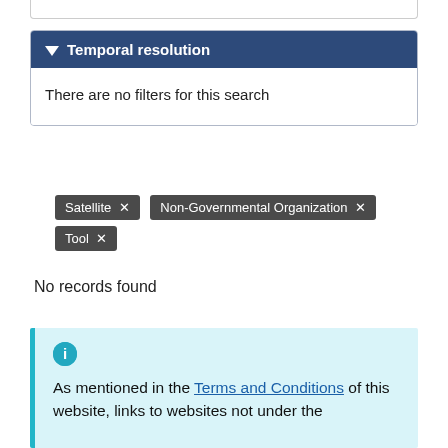Temporal resolution
There are no filters for this search
Satellite ✕
Non-Governmental Organization ✕
Tool ✕
No records found
As mentioned in the Terms and Conditions of this website, links to websites not under the